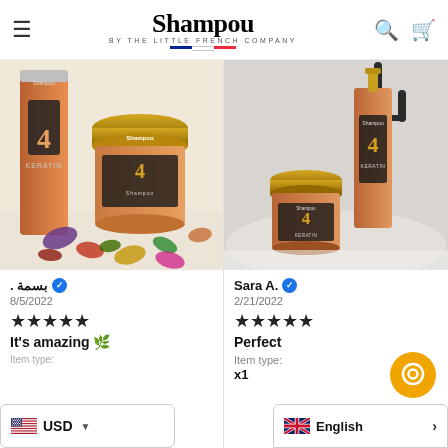Shampou BY THE LITTLE FRENCH COMPANY
[Figure (photo): Product photo: Shampou keratin hair care bottle and gold-lidded jar surrounded by colorful dried petals on white surface]
[Figure (photo): Product photo: Shampou keratin bottle and small jar with gold lid placed near a bathroom sink]
بسمة . ✓
8/5/2022
★★★★★
It's amazing 🌿
Sara A. ✓
2/21/2022
★★★★★
Perfect
Item type:
x1
USD
English